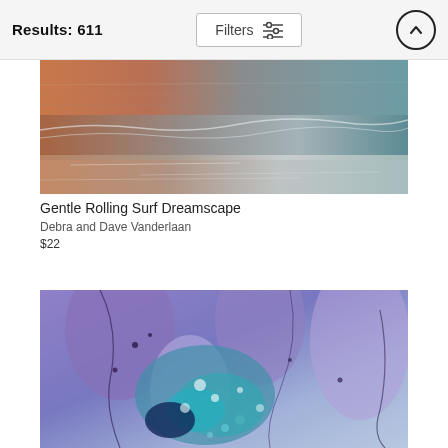Results: 611
[Figure (photo): Blurred long-exposure ocean surf photo with warm brown tones on the left and cool grey-blue tones on the right, showing gentle rolling waves]
Gentle Rolling Surf Dreamscape
Debra and Dave Vanderlaan
$22
[Figure (photo): Close-up macro/microscopic image with purple, blue, teal and white tones showing organic texture, possibly a biological or artistic photograph]